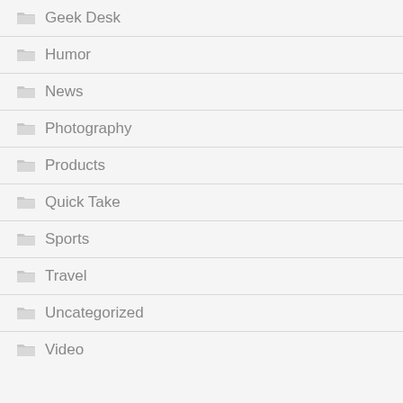Geek Desk
Humor
News
Photography
Products
Quick Take
Sports
Travel
Uncategorized
Video